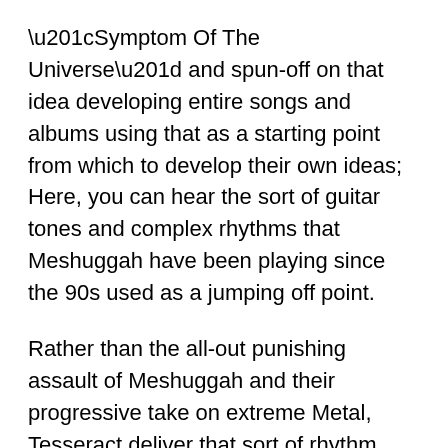“Symptom Of The Universe” and spun-off on that idea developing entire songs and albums using that as a starting point from which to develop their own ideas; Here, you can hear the sort of guitar tones and complex rhythms that Meshuggah have been playing since the 90s used as a jumping off point.
Rather than the all-out punishing assault of Meshuggah and their progressive take on extreme Metal, Tesseract deliver that sort of rhythm mixed in with floaty melodic vocals in the vein of Tool and Rishloo, and subtle ambient electronics to create something else. It couldn’t have existed without Meshuggah, and it couldn’t have existed before Melodic